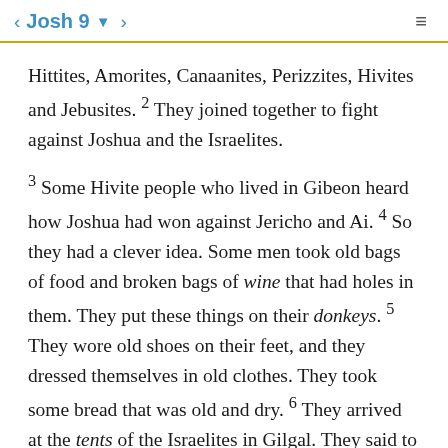< Josh 9 ▼ >  ≡
Hittites, Amorites, Canaanites, Perizzites, Hivites and Jebusites. 2 They joined together to fight against Joshua and the Israelites.
3 Some Hivite people who lived in Gibeon heard how Joshua had won against Jericho and Ai. 4 So they had a clever idea. Some men took old bags of food and broken bags of wine that had holes in them. They put these things on their donkeys. 5 They wore old shoes on their feet, and they dressed themselves in old clothes. They took some bread that was old and dry. 6 They arrived at the tents of the Israelites in Gilgal. They said to Joshua and to the men of Israel,